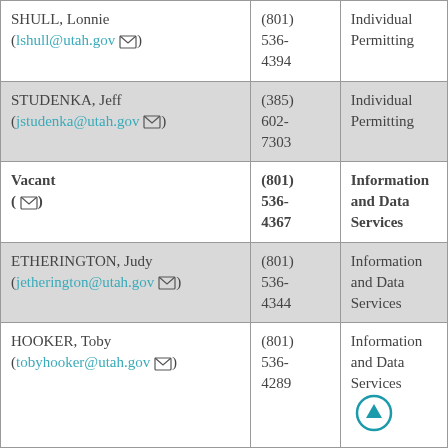| Name / Email | Phone | Division |
| --- | --- | --- |
| SHULL, Lonnie
(lshull@utah.gov) | (801) 536-4394 | Individual Permitting |
| STUDENKA, Jeff
(jstudenka@utah.gov) | (385) 602-7303 | Individual Permitting |
| Vacant
( ) | (801) 536-4367 | Information and Data Services |
| ETHERINGTON, Judy
(jetherington@utah.gov) | (801) 536-4344 | Information and Data Services |
| HOOKER, Toby
(tobyhooker@utah.gov) | (801) 536-4289 | Information and Data Services |